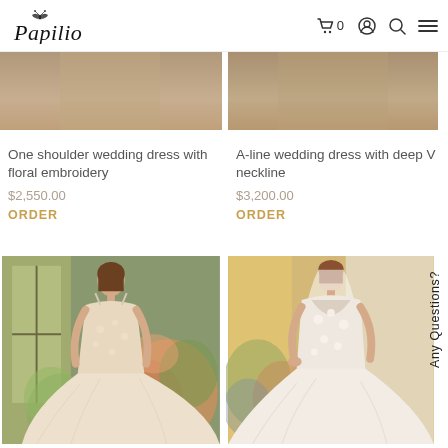Papilio | 🛒 0  👤  🔍  ≡
One shoulder wedding dress with floral embroidery
$2,550.00
ORDER
A-line wedding dress with deep V neckline
$3,200.00
ORDER
[Figure (photo): Model wearing a floral appliqué A-line wedding dress with spaghetti straps, standing in front of flowers]
[Figure (photo): Model wearing a deep V-neckline A-line wedding dress with floral lace appliqué, standing against a wall]
Any Questions?